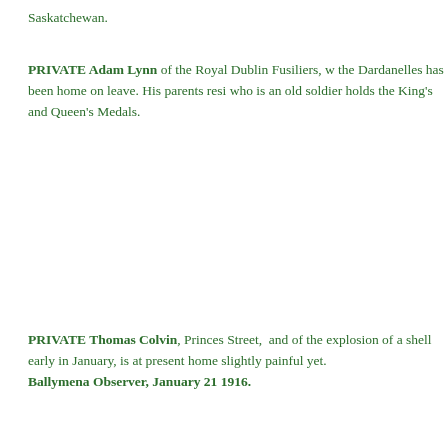Saskatchewan.
PRIVATE Adam Lynn of the Royal Dublin Fusiliers, w... the Dardanelles has been home on leave. His parents resi... who is an old soldier holds the King's and Queen's Medals...
PRIVATE Thomas Colvin, Princes Street, and of the... explosion of a shell early in January, is at present home... slightly painful yet.
Ballymena Observer, January 21 1916.